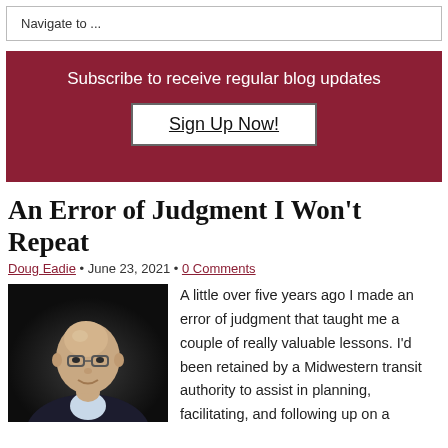Navigate to ...
Subscribe to receive regular blog updates
Sign Up Now!
An Error of Judgment I Won't Repeat
Doug Eadie • June 23, 2021 • 0 Comments
[Figure (photo): Portrait photo of Doug Eadie, an older bald man with glasses wearing a dark suit, against a dark background.]
A little over five years ago I made an error of judgment that taught me a couple of really valuable lessons.  I'd been retained by a Midwestern transit authority to assist in planning, facilitating, and following up on a